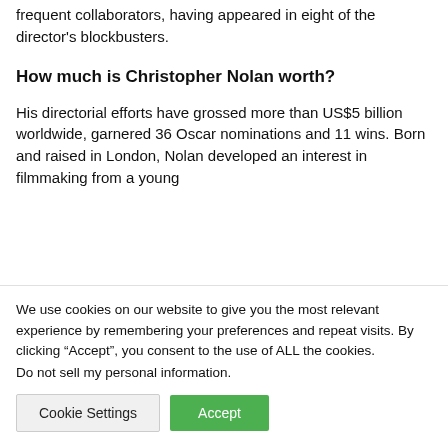frequent collaborators, having appeared in eight of the director's blockbusters.
How much is Christopher Nolan worth?
His directorial efforts have grossed more than US$5 billion worldwide, garnered 36 Oscar nominations and 11 wins. Born and raised in London, Nolan developed an interest in filmmaking from a young
We use cookies on our website to give you the most relevant experience by remembering your preferences and repeat visits. By clicking “Accept”, you consent to the use of ALL the cookies.
Do not sell my personal information.